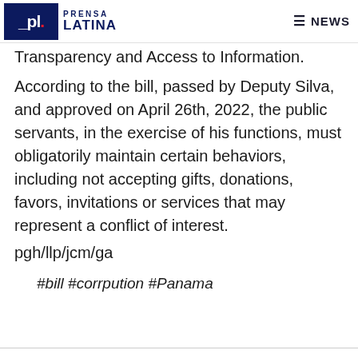Prensa Latina — NEWS
Transparency and Access to Information.
According to the bill, passed by Deputy Silva, and approved on April 26th, 2022, the public servants, in the exercise of his functions, must obligatorily maintain certain behaviors, including not accepting gifts, donations, favors, invitations or services that may represent a conflict of interest.
pgh/llp/jcm/ga
#bill #corrpution #Panama